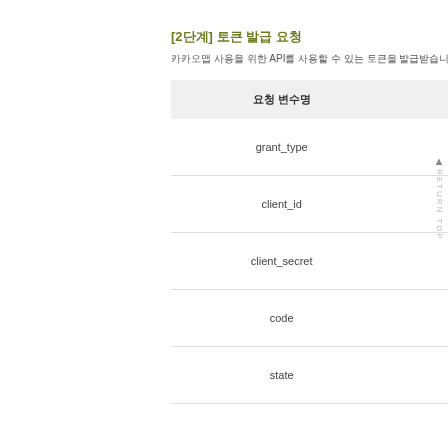[2단계] 토큰 발급 요청
카카오맵 사용을 위한 API를 사용할 수 있는 토큰을 발급받습니다.
| 요청 변수명 | 타입 |
| --- | --- |
| grant_type | strin |
| client_id | strin |
| client_secret | strin |
| code | strin |
| state | strin |